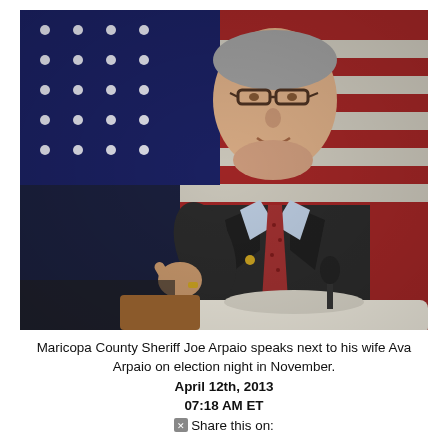[Figure (photo): Maricopa County Sheriff Joe Arpaio speaking at a podium, gesturing with his right hand, wearing a dark suit and red patterned tie. An American flag is visible in the background.]
Maricopa County Sheriff Joe Arpaio speaks next to his wife Ava Arpaio on election night in November.
April 12th, 2013
07:18 AM ET
Share this on: